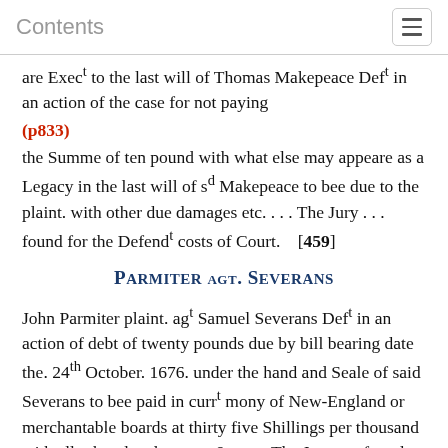Contents
are Execᵗ to the last will of Thomas Makepeace Defᵗ in an action of the case for not paying
(p833)
the Summe of ten pound with what else may appeare as a Legacy in the last will of sᵈ Makepeace to bee due to the plaint. with other due damages etc. . . . The Jury . . . found for the Defendᵗ costs of Court.   [459]
Parmiter agt. Severans
John Parmiter plaint. agᵗ Samuel Severans Defᵗ in an action of debt of twenty pounds due by bill bearing date the. 24ᵗʰ October. 1676. under the hand and Seale of said Severans to bee paid in currᵗ mony of New-England or merchantable boards at thirty five Shillings per thousand with all other due damages &c. . . . The Jury . . . found for the plaint. one quarter part of the Sloop increase being Forfiture of the bill & costs of Court